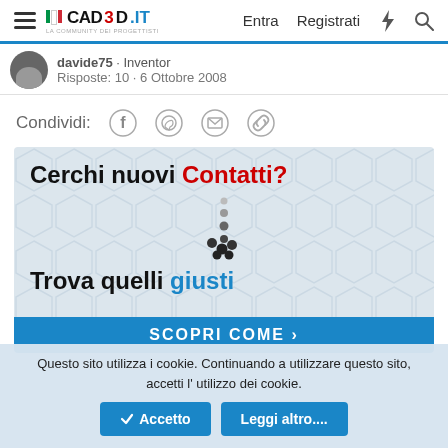CAD3D.it — Entra  Registrati
davide75 · Inventor
Risposte: 10 · 6 Ottobre 2008
Condividi:
[Figure (screenshot): Advertisement banner: 'Cerchi nuovi Contatti? Trova quelli giusti' with a SCOPRI COME button]
Questo sito utilizza i cookie. Continuando a utilizzare questo sito, accetti l' utilizzo dei cookie.
Accetto   Leggi altro....